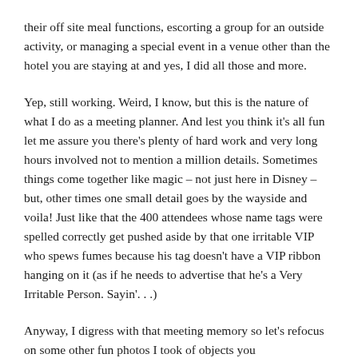their off site meal functions, escorting a group for an outside activity, or managing a special event in a venue other than the hotel you are staying at and yes, I did all those and more.
Yep, still working. Weird, I know, but this is the nature of what I do as a meeting planner. And lest you think it's all fun let me assure you there's plenty of hard work and very long hours involved not to mention a million details. Sometimes things come together like magic – not just here in Disney – but, other times one small detail goes by the wayside and voila! Just like that the 400 attendees whose name tags were spelled correctly get pushed aside by that one irritable VIP who spews fumes because his tag doesn't have a VIP ribbon hanging on it (as if he needs to advertise that he's a Very Irritable Person. Sayin'. . .)
Anyway, I digress with that meeting memory so let's refocus on some other fun photos I took of objects you